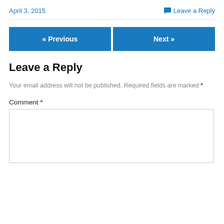April 3, 2015
Leave a Reply
« Previous
Next »
Leave a Reply
Your email address will not be published. Required fields are marked *
Comment *